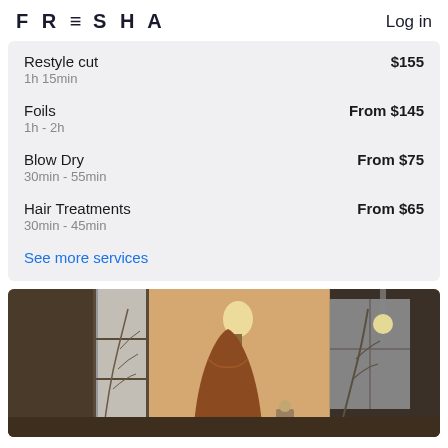FRESHA   Log in
Restyle cut   $155
1h 15min
Foils   From $145
1h - 2h
Blow Dry   From $75
30min - 55min
Hair Treatments   From $65
30min - 45min
See more services
[Figure (photo): Interior of a hair salon showing warm-toned decor with pendant lights and decorative branches visible through a window]